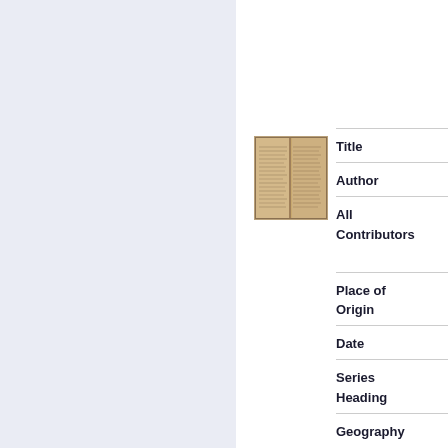[Figure (photo): Thumbnail of a handwritten historical document, two pages visible side by side, aged yellowish-brown paper with cursive writing]
Title
Author
All Contributors
Place of Origin
Date
Series Heading
Geography